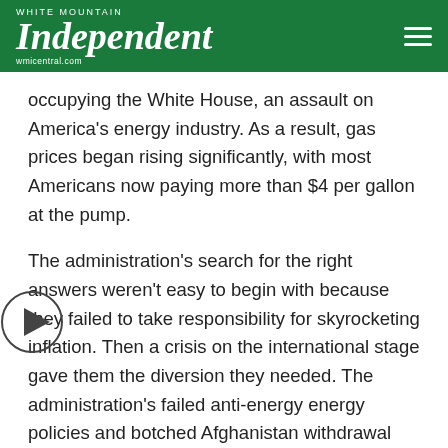WHITE MOUNTAIN Independent wmicentral.com
occupying the White House, an assault on America's energy industry. As a result, gas prices began rising significantly, with most Americans now paying more than $4 per gallon at the pump.
The administration's search for the right answers weren't easy to begin with because they failed to take responsibility for skyrocketing inflation. Then a crisis on the international stage gave them the diversion they needed. The administration's failed anti-energy energy policies and botched Afghanistan withdrawal gave Vladimir Putin the encouragement he needed to decide that now was the time to make good on his long-held desire to launch a brutal assault on Ukraine's sovereignty. Putin's war sanctions against Russia caused an immediate spike in